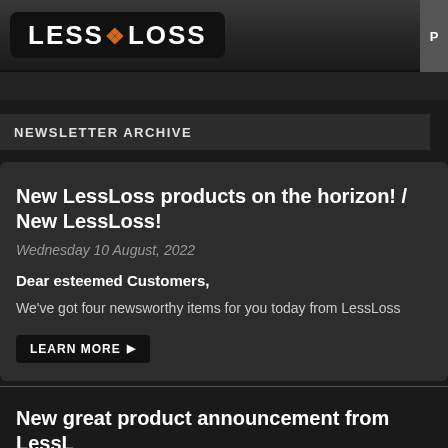LESS LOSS
NEWSLETTER ARCHIVE
New LessLoss products on the horizon! / New LessLoss!
Wednesday 10 August, 2022
Dear esteemed Customers,
We've got four newsworthy items for you today from LessLoss
LEARN MORE ▶
New great product announcement from LessL
Wednesday 08 June, 2022